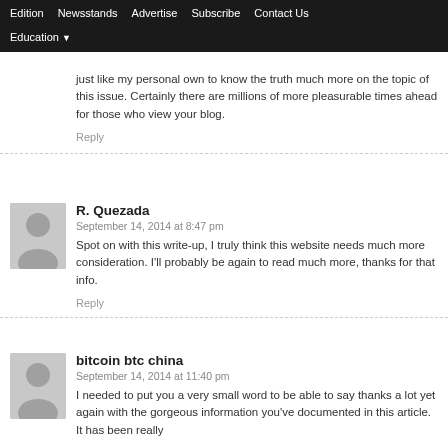Edition | Newsstands | Advertise | Subscribe | Contact Us | Education
just like my personal own to know the truth much more on the topic of this issue. Certainly there are millions of more pleasurable times ahead for those who view your blog.
Reply
R. Quezada
September 14, 2014 at 8:47 pm
Spot on with this write-up, I truly think this website needs much more consideration. I'll probably be again to read much more, thanks for that info.
Reply
bitcoin btc china
September 14, 2014 at 11:40 pm
I needed to put you a very small word to be able to say thanks a lot yet again with the gorgeous information you've documented in this article. It has been really